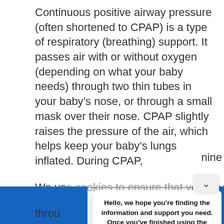Continuous positive airway pressure (often shortened to CPAP) is a type of respiratory (breathing) support. It passes air with or without oxygen (depending on what your baby needs) through two thin tubes in your baby's nose, or through a small mask over their nose. CPAP slightly raises the pressure of the air, which helps keep your baby's lungs inflated. During CPAP,
nine
We use cookies to ensure that you have best e more
[Figure (screenshot): A popup/chat widget overlay with a chevron/dropdown button at the top right. The popup contains bold text: 'Hello, we hope you're finding the information and support you need. Once you've finished using the information in the parents' section, can you help us improve it by answering a few quick questions?' with a green 'Reply' button below.]
throu